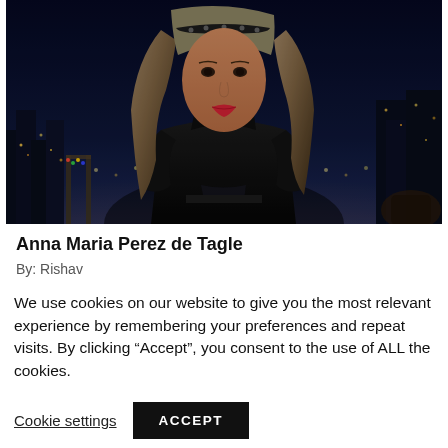[Figure (photo): A woman with long blonde-brown hair wearing a black outfit, standing on a rooftop or balcony at night with a city skyline lit up in the background.]
Anna Maria Perez de Tagle
By: Rishav
We use cookies on our website to give you the most relevant experience by remembering your preferences and repeat visits. By clicking “Accept”, you consent to the use of ALL the cookies.
Cookie settings   ACCEPT